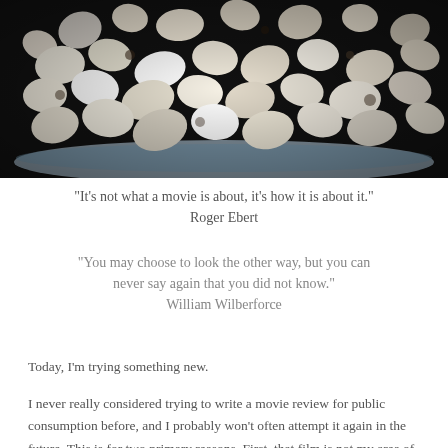[Figure (photo): Close-up photograph of a bowl of popcorn, with white and slightly browned kernels filling a dark bowl, dark background]
“It’s not what a movie is about, it’s how it is about it.” Roger Ebert
“You may choose to look the other way, but you can never say again that you did not know.” William Wilberforce
Today, I’m trying something new.
I never really considered trying to write a movie review for public consumption before, and I probably won’t often attempt it again in the future. This is for two primary reasons. First, that film is not my area of expertise. I like plenty of movies, and dislike plenty of others, but cannot pretend to be any kind of authority on the subject.